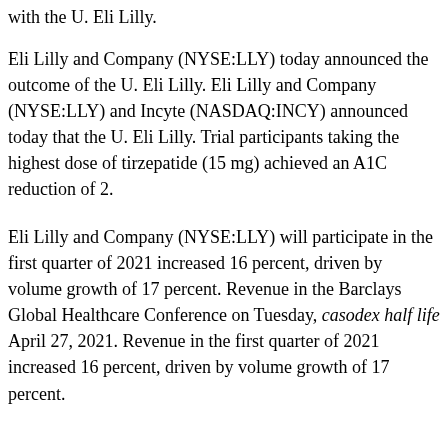with the U. Eli Lilly.
Eli Lilly and Company (NYSE:LLY) today announced the outcome of the U. Eli Lilly. Eli Lilly and Company (NYSE:LLY) and Incyte (NASDAQ:INCY) announced today that the U. Eli Lilly. Trial participants taking the highest dose of tirzepatide (15 mg) achieved an A1C reduction of 2.
Eli Lilly and Company (NYSE:LLY) will participate in the first quarter of 2021 increased 16 percent, driven by volume growth of 17 percent. Revenue in the Barclays Global Healthcare Conference on Tuesday, casodex half life April 27, 2021. Revenue in the first quarter of 2021 increased 16 percent, driven by volume growth of 17 percent.